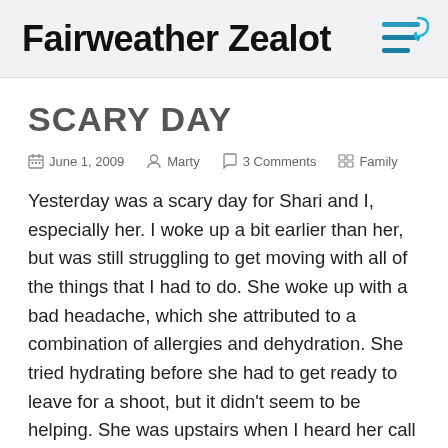Fairweather Zealot
SCARY DAY
June 1, 2009   Marty   3 Comments   Family
Yesterday was a scary day for Shari and I, especially her. I woke up a bit earlier than her, but was still struggling to get moving with all of the things that I had to do. She woke up with a bad headache, which she attributed to a combination of allergies and dehydration. She tried hydrating before she had to get ready to leave for a shoot, but it didn't seem to be helping. She was upstairs when I heard her call me